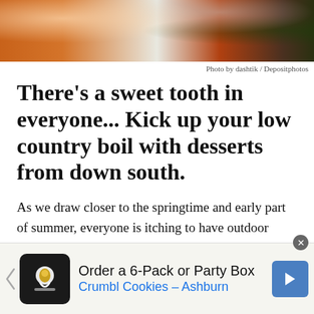[Figure (photo): Food photo showing seafood dish (shrimp) in a bowl and fruits (grapes) in the background on a table, partially cropped at top]
Photo by dashtik / Depositphotos
There’s a sweet tooth in everyone... Kick up your low country boil with desserts from down south.
As we draw closer to the springtime and early part of summer, everyone is itching to have outdoor events. Nothing is better than a low country boil for making memories and passing
[Figure (screenshot): Advertisement banner for Crumbl Cookies - Ashburn: Order a 6-Pack or Party Box]